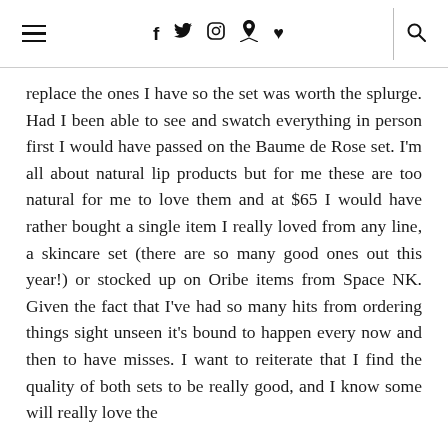≡  f  🐦  📷  📌  ♥  🔍
replace the ones I have so the set was worth the splurge. Had I been able to see and swatch everything in person first I would have passed on the Baume de Rose set. I'm all about natural lip products but for me these are too natural for me to love them and at $65 I would have rather bought a single item I really loved from any line, a skincare set (there are so many good ones out this year!) or stocked up on Oribe items from Space NK. Given the fact that I've had so many hits from ordering things sight unseen it's bound to happen every now and then to have misses. I want to reiterate that I find the quality of both sets to be really good, and I know some will really love the